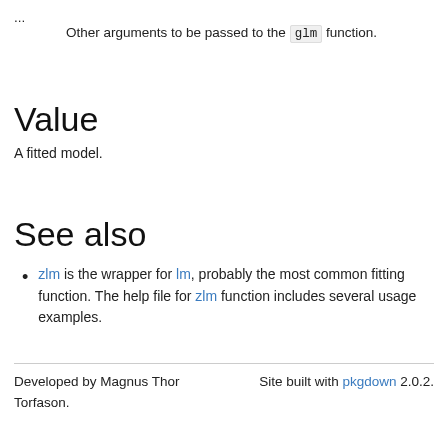...  Other arguments to be passed to the glm function.
Value
A fitted model.
See also
zlm is the wrapper for lm, probably the most common fitting function. The help file for zlm function includes several usage examples.
Developed by Magnus Thor Torfason.  Site built with pkgdown 2.0.2.